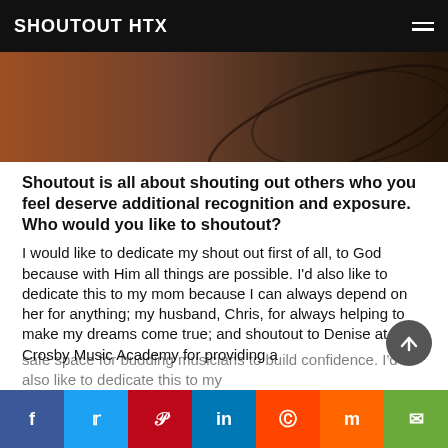SHOUTOUT HTX
[Figure (photo): Partial photo showing hair and warm brown background tones, cropped at the top of the page]
Shoutout is all about shouting out others who you feel deserve additional recognition and exposure. Who would you like to shoutout?
I would like to dedicate my shout out first of all, to God because with Him all things are possible. I’d also like to dedicate this to my mom because I can always depend on her for anything; my husband, Chris, for always helping to make my dreams come true; and shoutout to Denise at Crosby Music Academy for providing a safe space for budding musicians to build confidence. I’d also like to dedicate this to my
f  t  p  in  reddit  m  email (social sharing buttons)